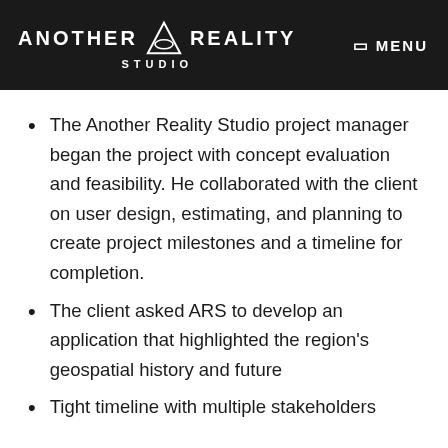ANOTHER REALITY STUDIO | MENU
The Another Reality Studio project manager began the project with concept evaluation and feasibility. He collaborated with the client on user design, estimating, and planning to create project milestones and a timeline for completion.
The client asked ARS to develop an application that highlighted the region's geospatial history and future
Tight timeline with multiple stakeholders